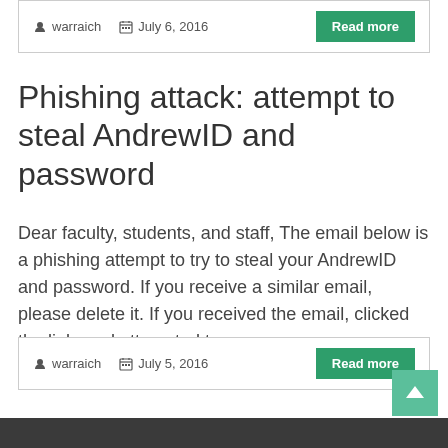warraich  July 6, 2016  Read more
Phishing attack: attempt to steal AndrewID and password
Dear faculty, students, and staff, The email below is a phishing attempt to try to steal your AndrewID and password. If you receive a similar email, please delete it. If you received the email, clicked the link, and attempted to
warraich  July 5, 2016  Read more